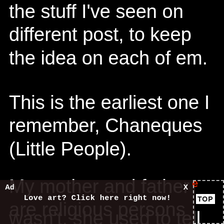the stuff I've seen on different post, to keep the idea on each of em.
This is the earliest one I remember, Chaneques (Little People).
My mother and father are religious persons since I remeber, but my grandmother wasn't, she used to tell me questions and to
[Figure (screenshot): Ad overlay banner reading 'Love art? Click here right now!' with Ad label and X close button, partially covering text. A 'TOP' button in a dashed box appears to the right.]